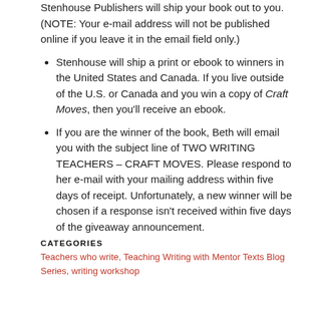Stenhouse Publishers will ship your book out to you. (NOTE: Your e-mail address will not be published online if you leave it in the email field only.)
Stenhouse will ship a print or ebook to winners in the United States and Canada. If you live outside of the U.S. or Canada and you win a copy of Craft Moves, then you'll receive an ebook.
If you are the winner of the book, Beth will email you with the subject line of TWO WRITING TEACHERS – CRAFT MOVES. Please respond to her e-mail with your mailing address within five days of receipt. Unfortunately, a new winner will be chosen if a response isn't received within five days of the giveaway announcement.
CATEGORIES
Teachers who write, Teaching Writing with Mentor Texts Blog Series, writing workshop